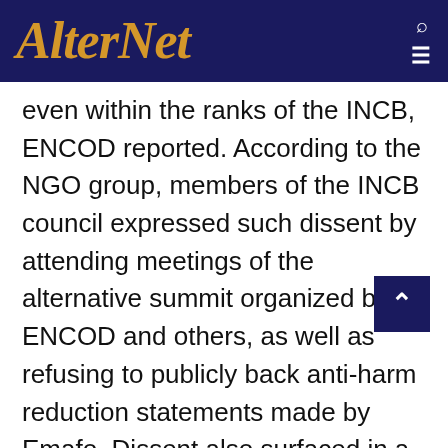AlterNet
even within the ranks of the INCB, ENCOD reported. According to the NGO group, members of the INCB council expressed such dissent by attending meetings of the alternative summit organized by ENCOD and others, as well as refusing to publicly back anti-harm reduction statements made by Emafo. Dissent also surfaced in a document prepared by the Legal Affairs Section of the UN Office on Drugs and Crime, which criticized the conventions' lack of flexibility to allow for harm reduction measures such as safe injection